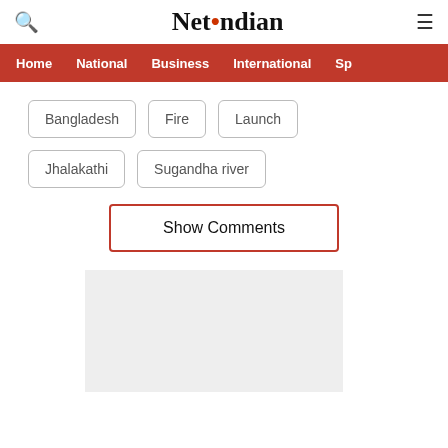NetIndian
Home
National
Business
International
Sp
Bangladesh
Fire
Launch
Jhalakathi
Sugandha river
Show Comments
[Figure (other): Gray advertisement placeholder box]